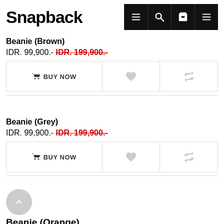Snapback
Beanie (Brown)
IDR. 99,900.- IDR. 199,900.-
BUY NOW
Beanie (Grey)
IDR. 99,900.- IDR. 199,900.-
BUY NOW
Beanie (Orange)